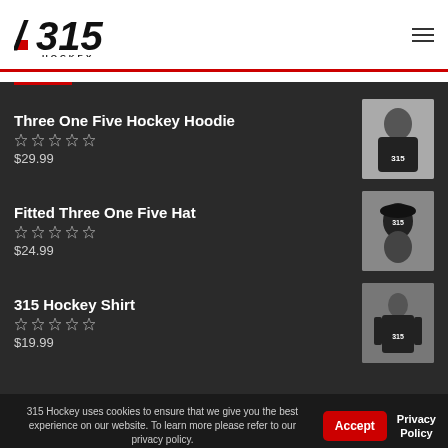[Figure (logo): 315 Hockey logo with italic slash and red accent, HOCKEY subtitle]
Three One Five Hockey Hoodie
☆☆☆☆☆
$29.99
Fitted Three One Five Hat
☆☆☆☆☆
$24.99
315 Hockey Shirt
☆☆☆☆☆
$19.99
315 Hockey uses cookies to ensure that we give you the best experience on our website. To learn more please refer to our privacy policy.